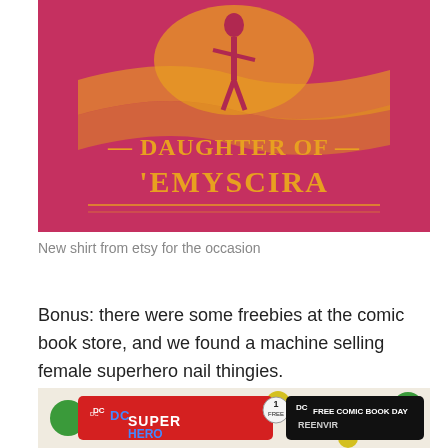[Figure (photo): Close-up photo of a red/crimson t-shirt with gold text reading 'DAUGHTER OF THEMYSCIRA' and a Wonder Woman silhouette graphic]
New shirt from etsy for the occasion
Bonus: there were some freebies at the comic book store, and we found a machine selling female superhero nail thingies.
[Figure (photo): Photo of DC SuperHero comic book freebies and a Free Comic Book Day item on a colorful polka-dot background]